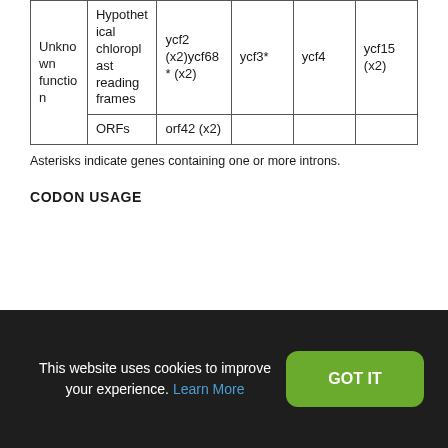|  |  | Single copy |  | Inverted repeat |
| --- | --- | --- | --- | --- |
| Unknown function | Hypothetical chloroplast reading frames | ycf2 (x2)ycf68* (x2) | ycf3* | ycf4 | ycf15 (x2) |
|  | ORFs | orf42 (x2) |  |  |  |
Asterisks indicate genes containing one or more introns.
CODON USAGE
This website uses cookies to improve your experience. Learn More